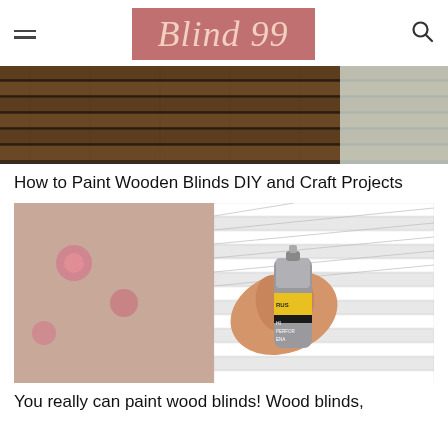Blind 99
[Figure (photo): Close-up photo of dark brown wooden window blinds]
How to Paint Wooden Blinds DIY and Craft Projects
[Figure (photo): A hand holding a silver spray paint can (Rust-Oleum High Performance Enamel) aimed at open white window blinds laid outdoors on grass]
You really can paint wood blinds! Wood blinds,